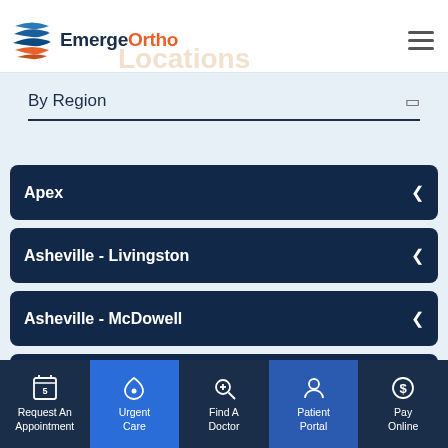[Figure (logo): EmergeOrtho logo with blue/orange ribbon graphic and brand name]
Locations
By Region
Apex
Asheville - Livingston
Asheville - McDowell
Brier Creek
Request An Appointment | Urgent Care | Find A Doctor | Patient Portal | Pay Online